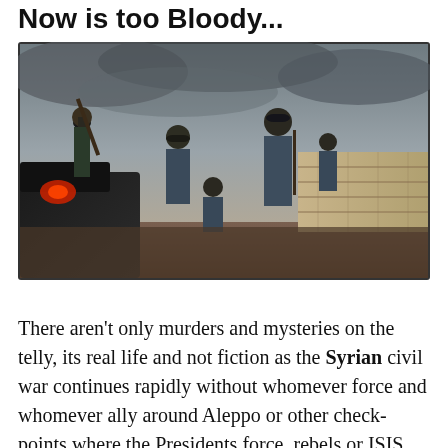Now is too Bloody...
[Figure (photo): Armed soldiers or police officers in blue camouflage uniforms carrying rifles, standing near a military vehicle with a red light. Overcast sky and a brick wall in the background. A conflict/war zone setting.]
There aren't only murders and mysteries on the telly, its real life and not fiction as the Syrian civil war continues rapidly without whomever force and whomever ally around Aleppo or other check-points where the Presidents force, rebels or ISIS are shooting.